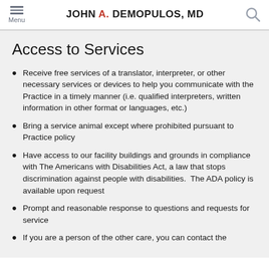Menu | JOHN A. DEMOPULOS, MD
Access to Services
Receive free services of a translator, interpreter, or other necessary services or devices to help you communicate with the Practice in a timely manner (i.e. qualified interpreters, written information in other format or languages, etc.)
Bring a service animal except where prohibited pursuant to Practice policy
Have access to our facility buildings and grounds in compliance with The Americans with Disabilities Act, a law that stops discrimination against people with disabilities.  The ADA policy is available upon request
Prompt and reasonable response to questions and requests for service
If you are a person of the other care, you can contact the...